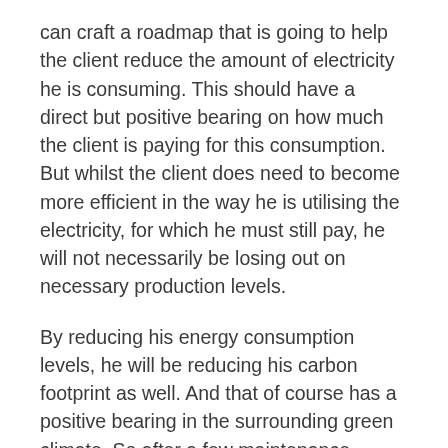can craft a roadmap that is going to help the client reduce the amount of electricity he is consuming. This should have a direct but positive bearing on how much the client is paying for this consumption. But whilst the client does need to become more efficient in the way he is utilising the electricity, for which he must still pay, he will not necessarily be losing out on necessary production levels.
By reducing his energy consumption levels, he will be reducing his carbon footprint as well. And that of course has a positive bearing in the surrounding green climate. So after a few maintenance inspection tours, it could be all systems go for both the electrical contractor and his client for making further improvements to the system. And that is going to include the introduction of alternative but renewable